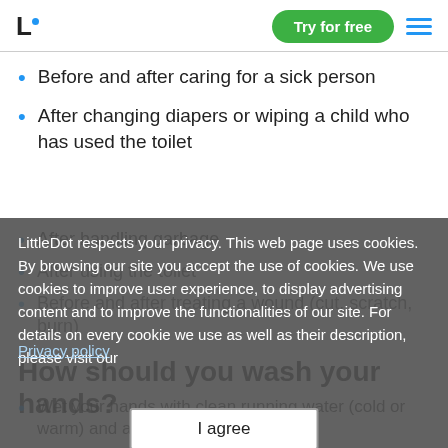L· Try for free ☰
Before and after caring for a sick person
After changing diapers or wiping a child who has used the toilet
After handling garbage
After using the toilet
Before and after treating a wound (cut, scratch, burn)
LittleDot respects your privacy. This web page uses cookies. By browsing our site you accept the use of cookies. We use cookies to improve user experience, to display advertising content and to improve the functionalities of our site. For details on every cookie we use as well as their description, please visit our
Privacy policy
How should you wash your hands?
Wet your hands with clean running water (cold or warm) and apply soap.
I agree